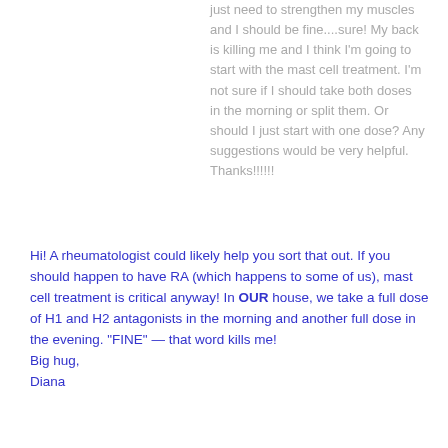just need to strengthen my muscles and I should be fine....sure! My back is killing me and I think I'm going to start with the mast cell treatment. I'm not sure if I should take both doses in the morning or split them. Or should I just start with one dose? Any suggestions would be very helpful. Thanks!!!!!!
Hi! A rheumatologist could likely help you sort that out. If you should happen to have RA (which happens to some of us), mast cell treatment is critical anyway! In OUR house, we take a full dose of H1 and H2 antagonists in the morning and another full dose in the evening. "FINE" — that word kills me!
Big hug,
Diana